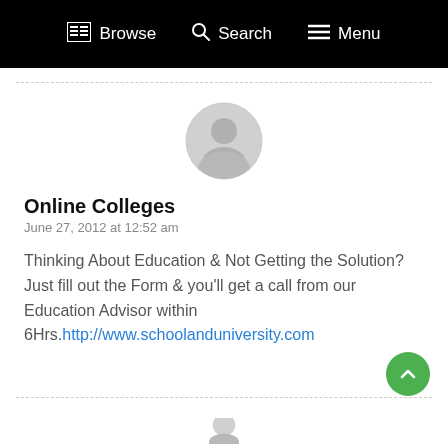Browse  Search  Menu
[Figure (illustration): Generic user avatar icon — grey circle with silhouette of a person]
Online Colleges
June 27, 2012 at 12:52 am
Thinking About Education & Not Getting the Solution? Just fill out the Form & you'll get a call from our Education Advisor within 6Hrs.http://www.schoolanduniversity.com